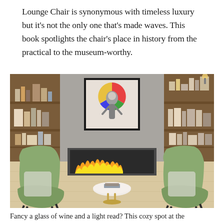Lounge Chair is synonymous with timeless luxury but it's not the only one that's made waves. This book spotlights the chair's place in history from the practical to the museum-worthy.
[Figure (photo): Interior room with two green lounge chairs facing each other, a round white coffee table between them, a linear gas fireplace in the center of a concrete wall, a framed artwork above the fireplace, and built-in wooden bookshelves on both sides.]
Fancy a glass of wine and a light read? This cozy spot at the